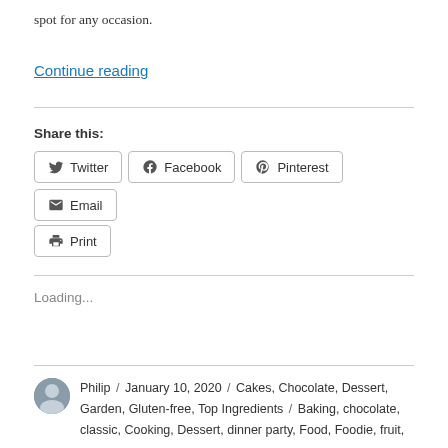spot for any occasion.
Continue reading
Share this:
Twitter  Facebook  Pinterest  Email  Print
Loading...
Philip / January 10, 2020 / Cakes, Chocolate, Dessert, Garden, Gluten-free, Top Ingredients / Baking, chocolate, classic, Cooking, Dessert, dinner party, Food, Foodie, fruit,